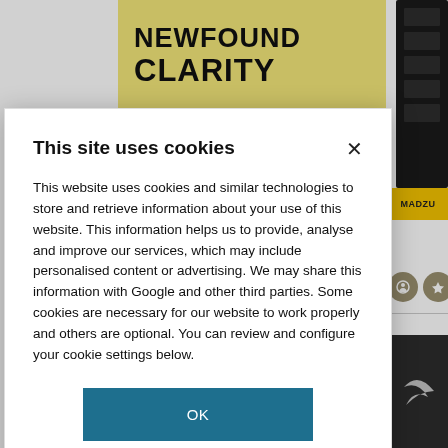[Figure (screenshot): Background webpage showing 'NEWFOUND CLARITY' banner in yellow, a black device/hardware image on the right, Shimadzu/Madzu branding, circle icons, and a dark strip with CW logo at bottom right.]
This site uses cookies
This website uses cookies and similar technologies to store and retrieve information about your use of this website. This information helps us to provide, analyse and improve our services, which may include personalised content or advertising. We may share this information with Google and other third parties. Some cookies are necessary for our website to work properly and others are optional. You can review and configure your cookie settings below.
OK
COOKIE SETTINGS